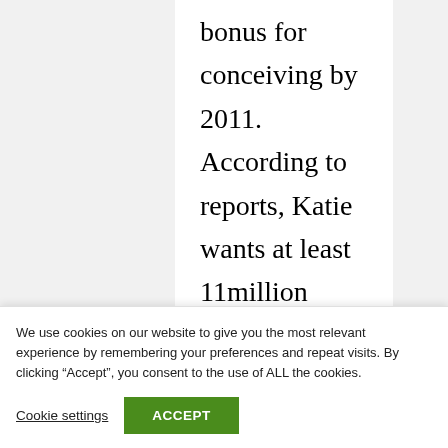bonus for conceiving by 2011. According to reports, Katie wants at least 11million dollars if she has a baby and 5.5million if she fails.
In countries such as India, where marriage is too sacred to be brokenable, a marriage
We use cookies on our website to give you the most relevant experience by remembering your preferences and repeat visits. By clicking “Accept”, you consent to the use of ALL the cookies.